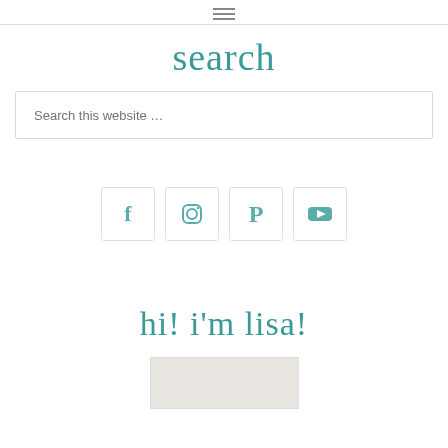≡ (hamburger menu icon)
search
Search this website …
[Figure (infographic): Row of four social media icon boxes: Facebook (f), Instagram (camera), Pinterest (P), YouTube (play button). Each icon is teal/gray colored in a light bordered square box.]
hi! i'm lisa!
[Figure (photo): Partially visible photograph with light beige/gray tones at the bottom of the page.]